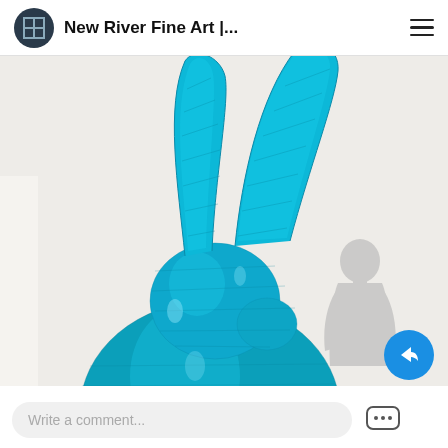New River Fine Art |...
[Figure (photo): Large metallic teal/cyan wire-mesh rabbit sculpture shown from the torso up, with two tall ears. A grey human silhouette stands next to it for scale, showing the sculpture is much taller than a person. The background is light beige/grey.]
Write a comment...